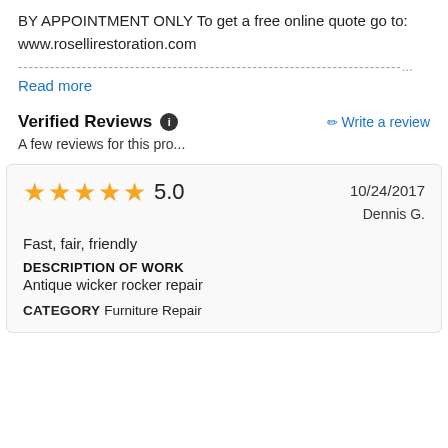BY APPOINTMENT ONLY To get a free online quote go to: www.rosellirestoration.com
---------------------------------------------------------------------...
Read more
Verified Reviews  Write a review
A few reviews for this pro...
| Rating | Score | Date | Reviewer | Review | Description of Work | Category |
| --- | --- | --- | --- | --- | --- | --- |
| 5 stars | 5.0 | 10/24/2017 | Dennis G. | Fast, fair, friendly | Antique wicker rocker repair | Furniture Repair |